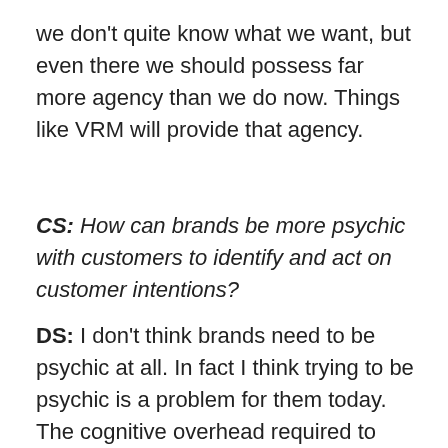we don't quite know what we want, but even there we should possess far more agency than we do now. Things like VRM will provide that agency.
CS: How can brands be more psychic with customers to identify and act on customer intentions?
DS: I don't think brands need to be psychic at all. In fact I think trying to be psychic is a problem for them today. The cognitive overhead required to harvest and mill Big Data is immense, and expensive. What